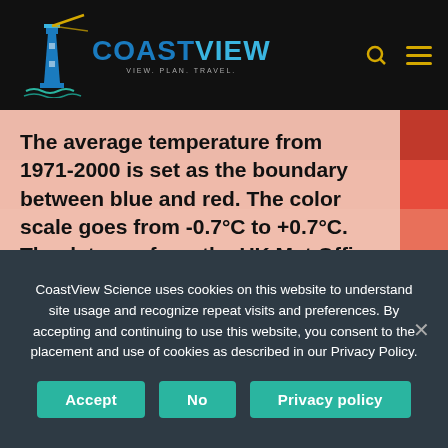COASTVIEW — VIEW. PLAN. TRAVEL.
The average temperature from 1971-2000 is set as the boundary between blue and red. The color scale goes from -0.7°C to +0.7°C. The data are from the UK Met Office HadCRUT4.6 dataset.
Credit: Professor Ed Hawkins (University of Reading).
CoastView Science uses cookies on this website to understand site usage and recognize repeat visits and preferences. By accepting and continuing to use this website, you consent to the placement and use of cookies as described in our Privacy Policy.